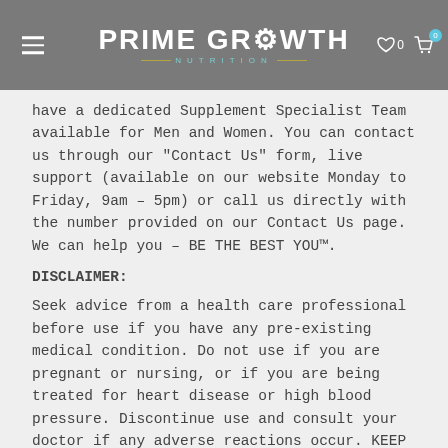PRIME GROWTH NUTRITION
have a dedicated Supplement Specialist Team available for Men and Women. You can contact us through our "Contact Us" form, live support (available on our website Monday to Friday, 9am - 5pm) or call us directly with the number provided on our Contact Us page. We can help you - BE THE BEST YOU™.
DISCLAIMER:
Seek advice from a health care professional before use if you have any pre-existing medical condition. Do not use if you are pregnant or nursing, or if you are being treated for heart disease or high blood pressure. Discontinue use and consult your doctor if any adverse reactions occur. KEEP OUT OF REACH OF CHILDREN.